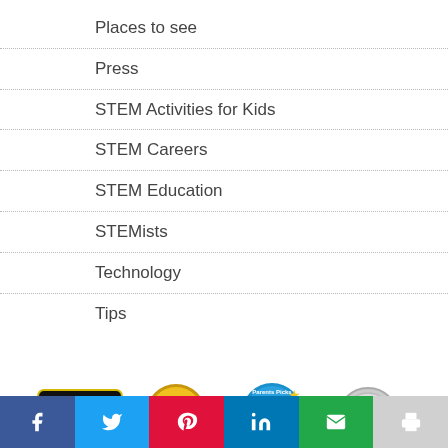Places to see
Press
STEM Activities for Kids
STEM Careers
STEM Education
STEMists
Technology
Tips
[Figure (logo): Edison Awards 2020 Nominee badge, CoVaBIZ BOB Awards Best of Business Winner badge, Parents Picks Awards badge, and a silver coin/medal badge]
[Figure (infographic): Social sharing bar with Facebook, Twitter, Pinterest, LinkedIn, Email, and Print buttons]